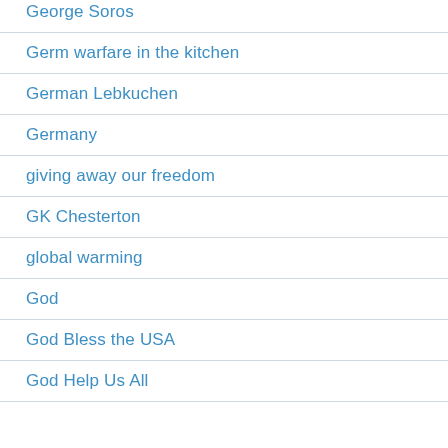George Soros
Germ warfare in the kitchen
German Lebkuchen
Germany
giving away our freedom
GK Chesterton
global warming
God
God Bless the USA
God Help Us All